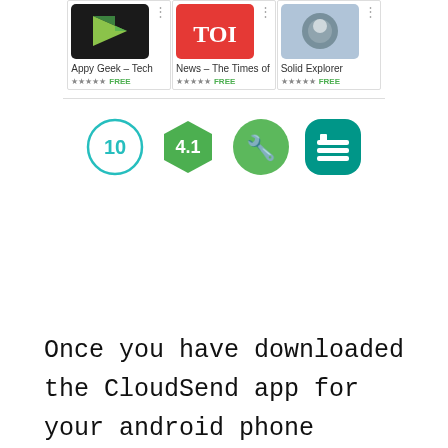[Figure (screenshot): Google Play Store screenshot showing three app cards: 'Appy Geek - Tech', 'News - The Times of', and 'Solid Explorer', each with 5-star ratings and FREE label. Below the app cards are four badge icons: a circle with '10', a hexagon badge with '4.1', a green wrench/tool badge, and a teal book/reading badge.]
Once you have downloaded the CloudSend app for your android phone install it and launch it. In order to launch this app you will have to create an account on Cloudsend app.